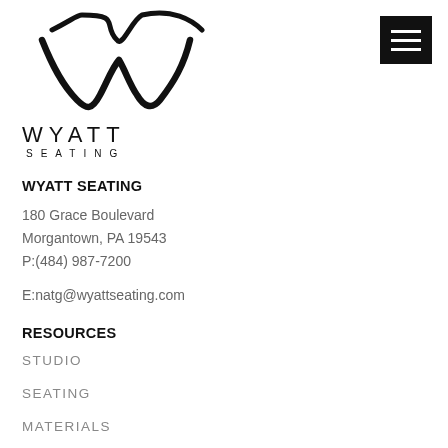[Figure (logo): Wyatt Seating logo with stylized cursive W and the text WYATT SEATING in uppercase spaced letters]
WYATT SEATING
180 Grace Boulevard
Morgantown, PA 19543
P:(484) 987-7200
E:natg@wyattseating.com
RESOURCES
STUDIO
SEATING
MATERIALS
RESOURCES